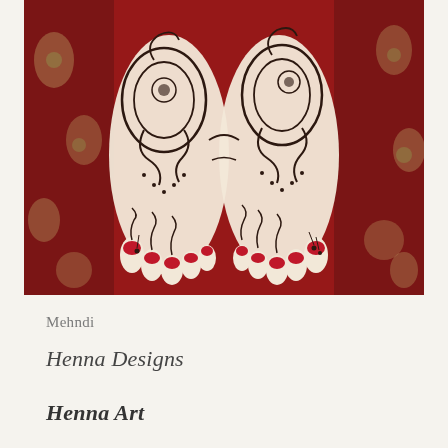[Figure (photo): A top-down photograph of two feet decorated with intricate henna (mehndi) designs in dark brown/black, resting on a red patterned carpet. The toes have red nail polish. The henna patterns feature paisley motifs, swirls, floral elements, and dot work covering the tops of both feet and toes.]
Mehndi
Henna Designs
Henna Art